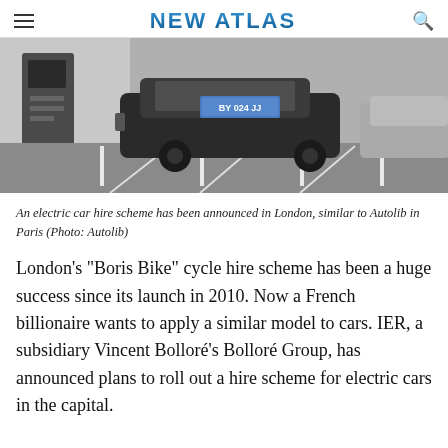NEW ATLAS
[Figure (photo): A small electric car parked in a charging station bay, showing the front/hood of the vehicle with a French license plate reading BY 024 JJ. The car appears to be a Bollore Bluecar at an Autolib charging station in Paris.]
An electric car hire scheme has been announced in London, similar to Autolib in Paris (Photo: Autolib)
London's "Boris Bike" cycle hire scheme has been a huge success since its launch in 2010. Now a French billionaire wants to apply a similar model to cars. IER, a subsidiary Vincent Bolloré's Bolloré Group, has announced plans to roll out a hire scheme for electric cars in the capital.